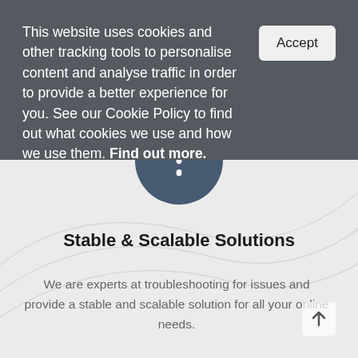This website uses cookies and other tracking tools to personalise content and analyse traffic in order to provide a better experience for you. See our Cookie Policy to find out what cookies we use and how we use them. Find out more.
[Figure (infographic): Dark blue circle icon with an exclamation mark, centered on a light gray background with decorative curved lines]
Stable & Scalable Solutions
We are experts at troubleshooting for issues and provide a stable and scalable solution for all your online needs.